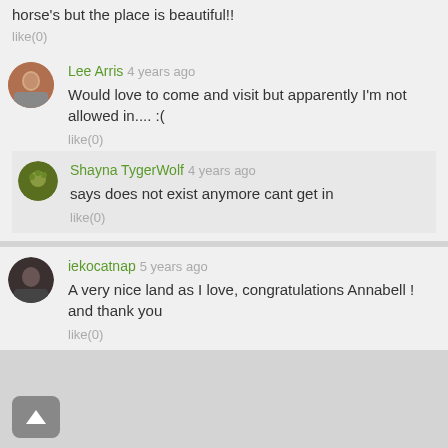horse's but the place is beautiful!!
like(0)
Lee Arris 4 years ago
Would love to come and visit but apparently I'm not allowed in.... :(
like(0)
Shayna TygerWolf 4 years ago
says does not exist anymore cant get in
like(0)
iekocatnap 5 years ago
A very nice land as I love, congratulations Annabell ! and thank you
like(0)